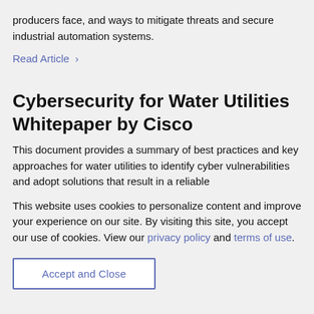producers face, and ways to mitigate threats and secure industrial automation systems.
Read Article ›
Cybersecurity for Water Utilities Whitepaper by Cisco
This document provides a summary of best practices and key approaches for water utilities to identify cyber vulnerabilities and adopt solutions that result in a reliable
This website uses cookies to personalize content and improve your experience on our site. By visiting this site, you accept our use of cookies. View our privacy policy and terms of use.
Accept and Close